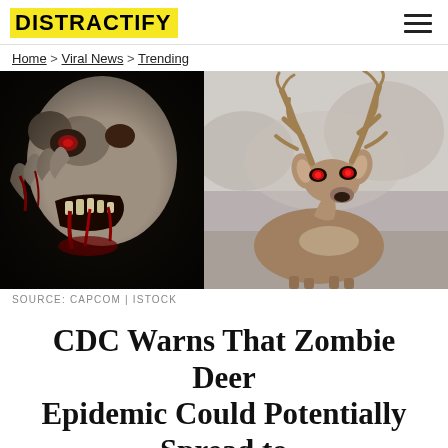DISTRACTIFY
Home > Viral News > Trending
[Figure (photo): Split image: left half shows a grotesque zombie face with bloody wounds and exposed teeth (from Capcom); right half shows a white-tailed deer with large antlers and glowing red eyes against a blurred winter background (from iStock)]
SOURCE: CAPCOM | ISTOCK
CDC Warns That Zombie Deer Epidemic Could Potentially Spread to Humans